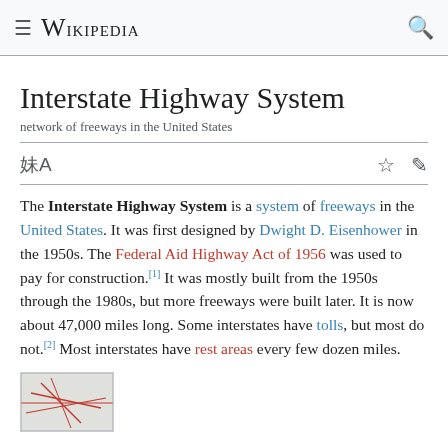Wikipedia
Interstate Highway System
network of freeways in the United States
The Interstate Highway System is a system of freeways in the United States. It was first designed by Dwight D. Eisenhower in the 1950s. The Federal Aid Highway Act of 1956 was used to pay for construction.[1] It was mostly built from the 1950s through the 1980s, but more freeways were built later. It is now about 47,000 miles long. Some interstates have tolls, but most do not.[2] Most interstates have rest areas every few dozen miles.
[Figure (map): Partial map preview of the Interstate Highway System]